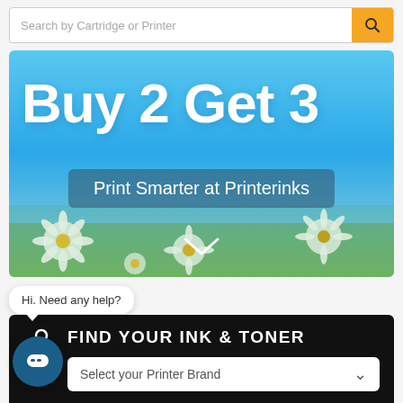Search by Cartridge or Printer
[Figure (screenshot): Promotional banner with blue sky background and daisies, showing 'Buy 2 Get 3' headline and 'Print Smarter at Printerinks' subtitle with a chevron arrow below]
Hi. Need any help?
FIND YOUR INK & TONER
Select your Printer Brand